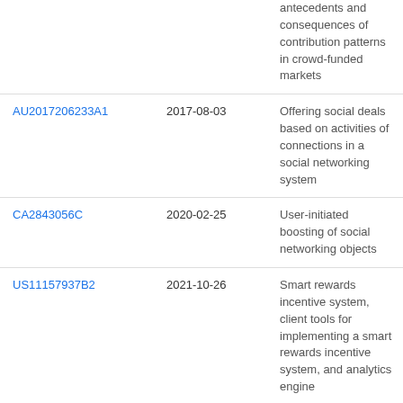| Publication | Date | Title |
| --- | --- | --- |
|  |  | antecedents and consequences of contribution patterns in crowd-funded markets |
| AU2017206233A1 | 2017-08-03 | Offering social deals based on activities of connections in a social networking system |
| CA2843056C | 2020-02-25 | User-initiated boosting of social networking objects |
| US11157937B2 | 2021-10-26 | Smart rewards incentive system, client tools for implementing a smart rewards incentive system, and analytics engine |
| US20130332308A1 | 2013-12-12 | Method for recommending a gift to a sender |
| US20130297493A1 | 2013-11-07 | Method for enabling gift prepay |